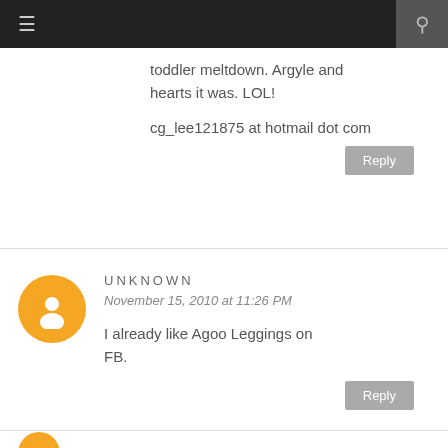☰  🔍
toddler meltdown. Argyle and hearts it was. LOL!
cg_lee121875 at hotmail dot com
Reply
UNKNOWN
November 15, 2010 at 11:26 PM
I already like Agoo Leggings on FB.
Reply